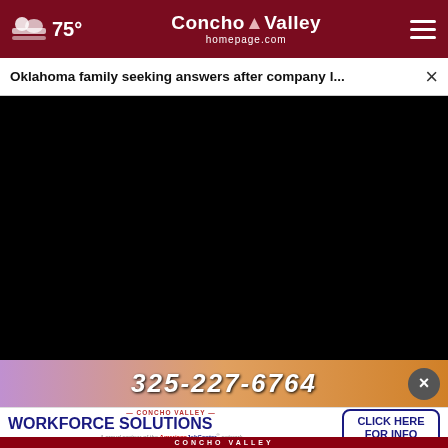75° Concho Valley homepage.com
Oklahoma family seeking answers after company l...
[Figure (screenshot): Black video player area with progress bar and controls showing play button, mute icon, timestamp 00:00, captions button, and fullscreen button]
[Figure (photo): Advertisement strip showing phone number 325-227-6764 with colorful background]
[Figure (other): Concho Valley Workforce Solutions advertisement with click here for info button, address 202 Henry O. Flipper Street, 325-653-2321, American Job Center network partner]